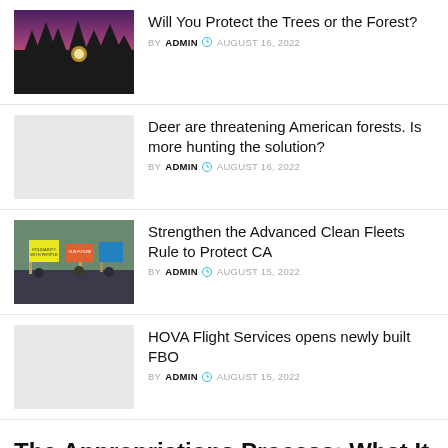[Figure (photo): Forest silhouette at sunset with purple/orange sky]
Will You Protect the Trees or the Forest?
BY ADMIN  AUGUST 16, 2022
[Figure (photo): Light gray placeholder image]
Deer are threatening American forests. Is more hunting the solution?
BY ADMIN  AUGUST 16, 2022
[Figure (photo): Protest scene with people holding signs, one reading solidarity with people]
Strengthen the Advanced Clean Fleets Rule to Protect CA
BY ADMIN  AUGUST 15, 2022
[Figure (photo): Light gray placeholder image]
HOVA Flight Services opens newly built FBO
BY ADMIN  AUGUST 15, 2022
The Appropriations Process: What It Means for NRDC